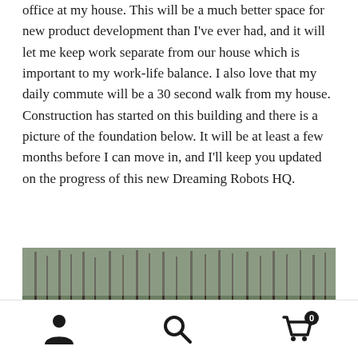office at my house. This will be a much better space for new product development than I've ever had, and it will let me keep work separate from our house which is important to my work-life balance. I also love that my daily commute will be a 30 second walk from my house. Construction has started on this building and there is a picture of the foundation below. It will be at least a few months before I can move in, and I'll keep you updated on the progress of this new Dreaming Robots HQ.
[Figure (photo): Photograph of a building foundation under construction, showing wooden forms for the concrete foundation walls with dirt and gravel inside, surrounded by trees in the background.]
Navigation icons: user account, search, shopping cart (0)